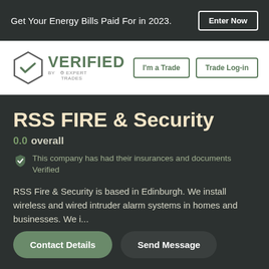Get Your Energy Bills Paid For in 2023. Enter Now
[Figure (logo): Verified by Expert Trades logo with hexagon checkmark and green VERIFIED text]
RSS FIRE & Security
0.0 overall
This company has had their insurances and documents Verified
RSS Fire & Security is based in Edinburgh. We install wireless and wired intruder alarm systems in homes and businesses. We i...